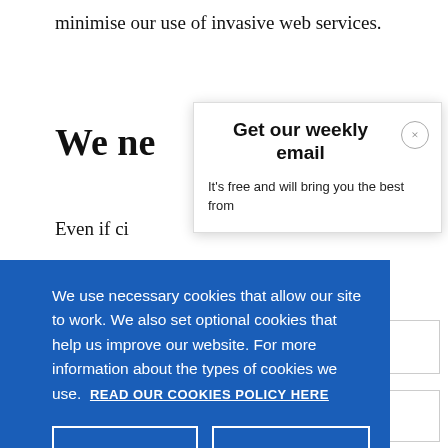minimise our use of invasive web services.
We ne
Even if ci   It's free and will bring you the best from
[Figure (screenshot): Weekly email signup popup with title 'Get our weekly email', body text 'It's free and will bring you the best from', and a close (×) button.]
We use necessary cookies that allow our site to work. We also set optional cookies that help us improve our website. For more information about the types of cookies we use. READ OUR COOKIES POLICY HERE
COOKIE SETTINGS
ALLOW ALL COOKIES
data.
Protectin